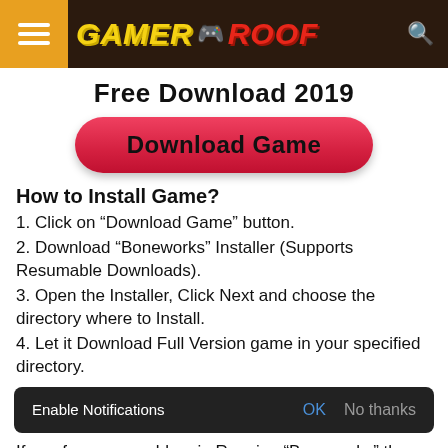GAMER ROOF
Free Download 2019
[Figure (other): Red rounded Download Game button]
How to Install Game?
1. Click on “Download Game” button.
2. Download “Boneworks” Installer (Supports Resumable Downloads).
3. Open the Installer, Click Next and choose the directory where to Install.
4. Let it Download Full Version game in your specified directory.
Enable Notifications  OK  No thanks
If you face any problem in Running “Boneworks” then